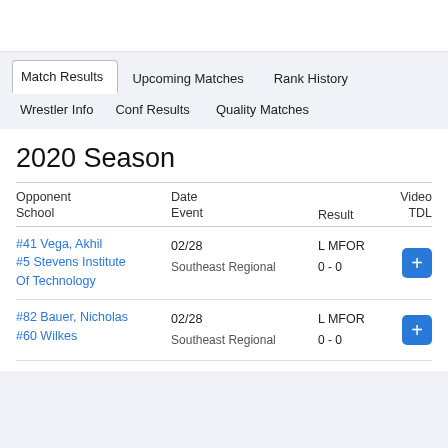Match Results | Upcoming Matches | Rank History | Wrestler Info | Conf Results | Quality Matches
2020 Season
| Opponent
School | Date
Event | Result | Video
TDL |
| --- | --- | --- | --- |
| #41 Vega, Akhil
#5 Stevens Institute Of Technology | 02/28
Southeast Regional | L MFOR
0 - 0 | + |
| #82 Bauer, Nicholas
#60 Wilkes | 02/28
Southeast Regional | L MFOR
0 - 0 | + |